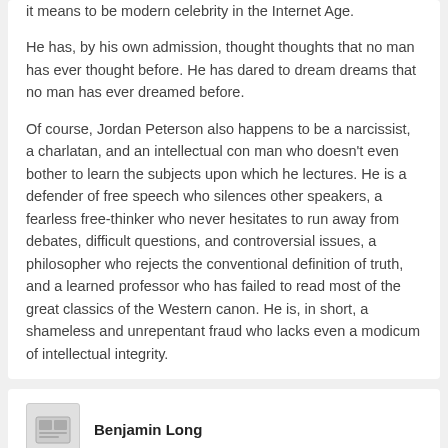it means to be modern celebrity in the Internet Age.
He has, by his own admission, thought thoughts that no man has ever thought before. He has dared to dream dreams that no man has ever dreamed before.
Of course, Jordan Peterson also happens to be a narcissist, a charlatan, and an intellectual con man who doesn't even bother to learn the subjects upon which he lectures. He is a defender of free speech who silences other speakers, a fearless free-thinker who never hesitates to run away from debates, difficult questions, and controversial issues, a philosopher who rejects the conventional definition of truth, and a learned professor who has failed to read most of the great classics of the Western canon. He is, in short, a shameless and unrepentant fraud who lacks even a modicum of intellectual integrity.
Benjamin Long
He is an opportunists. He is simply a career parrot,